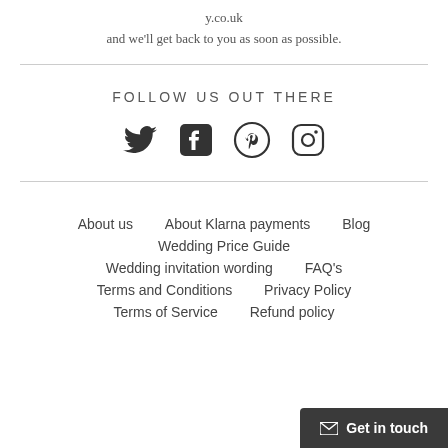y.co.uk
and we'll get back to you as soon as possible.
[Figure (illustration): Social media icons: Twitter bird, Facebook f, Pinterest p, Instagram camera]
FOLLOW US OUT THERE
About us   About Klarna payments   Blog
Wedding Price Guide
Wedding invitation wording   FAQ's
Terms and Conditions   Privacy Policy
Terms of Service   Refund policy
Get in touch